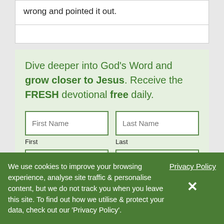wrong and pointed it out.
Dive deeper into God's Word and grow closer to Jesus. Receive the FRESH devotional free daily.
First Name
First
Last Name
Last
We use cookies to improve your browsing experience, analyse site traffic & personalise content, but we do not track you when you leave this site. To find out how we utilise & protect your data, check out our 'Privacy Policy'.
Privacy Policy